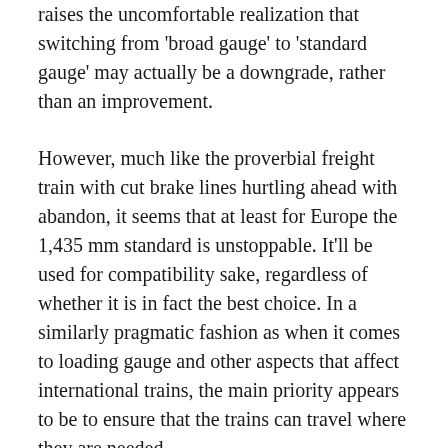raises the uncomfortable realization that switching from 'broad gauge' to 'standard gauge' may actually be a downgrade, rather than an improvement.
However, much like the proverbial freight train with cut brake lines hurtling ahead with abandon, it seems that at least for Europe the 1,435 mm standard is unstoppable. It'll be used for compatibility sake, regardless of whether it is in fact the best choice. In a similarly pragmatic fashion as when it comes to loading gauge and other aspects that affect international trains, the main priority appears to be to ensure that the trains can travel where they are needed.
Fortunately the other compatibility issues like the different electrical voltages used across